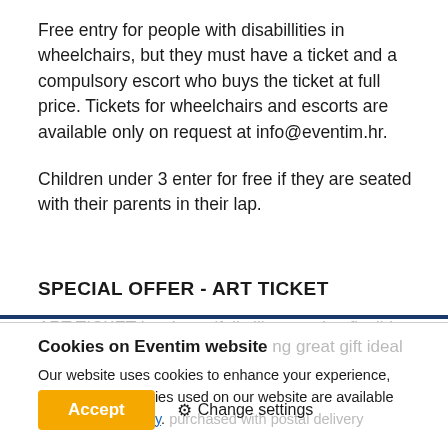Free entry for people with disabillities in wheelchairs, but they must have a ticket and a compulsory escort who buys the ticket at full price. Tickets for wheelchairs and escorts are available only on request at info@eventim.hr.

Children under 3 enter for free if they are seated with their parents in their lap.
SPECIAL OFFER - ART TICKET
Cookies on Eventim website
Our website uses cookies to enhance your experience, details about cookies used on our website are available under cookie policy.